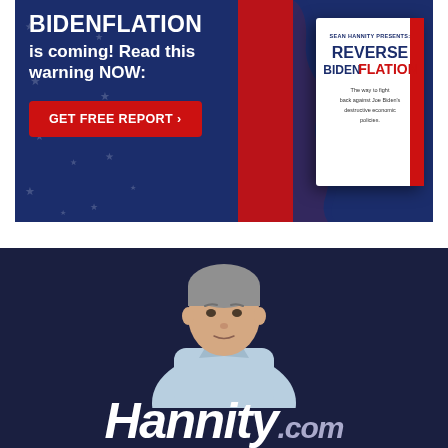[Figure (infographic): Advertisement banner with dark navy blue background with stars, featuring bold white text 'BIDENFLATION is coming! Read this warning NOW:' with a red 'GET FREE REPORT ›' button, and a book cover image for 'Sean Hannity Presents: REVERSE BIDENFLATION - The way to fight back against Joe Biden's destructive economic policies' alongside a red and white silhouette shape.]
[Figure (photo): Dark navy background with a man (Sean Hannity) in a light blue shirt, gray hair, looking at camera. Large white bold text 'Hannity.com' at the bottom.]